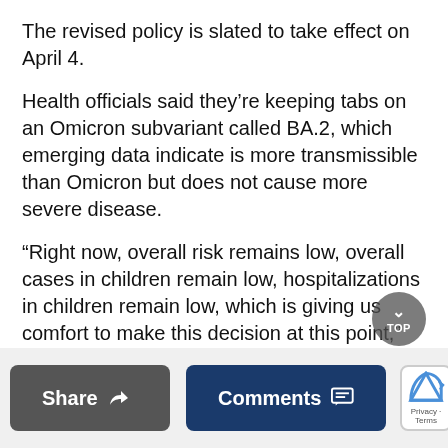The revised policy is slated to take effect on April 4.
Health officials said they’re keeping tabs on an Omicron subvariant called BA.2, which emerging data indicate is more transmissible than Omicron but does not cause more severe disease.
“Right now, overall risk remains low, overall cases in children remain low, hospitalizations in children remain low, which is giving us comfort to make this decision at this point,” Dr. Ashwin Vasan, the new New York City health commissioner, said.
Some parents have become increasingly frustrated with the continued imposition of forced masking on